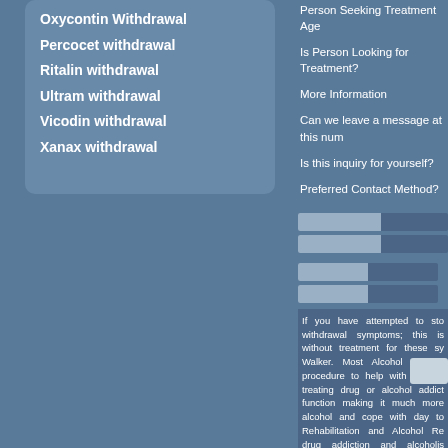Oxycontin Withdrawal
Percocet withdrawal
Ritalin withdrawal
Ultram withdrawal
Vicodin withdrawal
Xanax withdrawal
Person Seeking Treatment Age
Is Person Looking for Treatment?
More Information
Can we leave a message at this num
Is this inquiry for yourself?
Preferred Contact Method?
If you have attempted to sto withdrawal symptoms; this is without treatment for these sy Walker. Most Alcohol Rehabil procedure to help with uncomf treating drug or alcohol addict function making it much more alcohol and cope with day to Rehabilitation and Alcohol Re drug addiction and alcoholis Facility in Walker can be to Registered Addiction Specialis Alcohol Rehab Programs in W and Drug Rehab Center, ca Specialists will assist you.